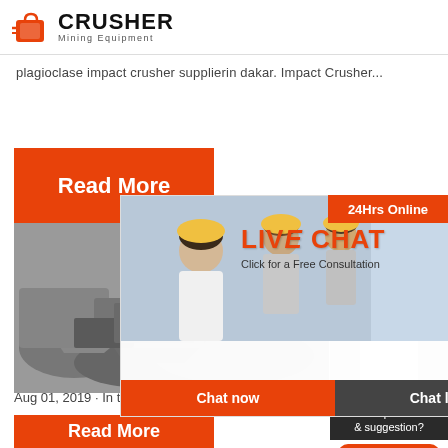[Figure (logo): Crusher Mining Equipment logo with red shopping bag icon and bold CRUSHER text with Mining Equipment subtitle]
plagioclase impact crusher supplierin dakar. Impact Crusher...
[Figure (infographic): Orange Read More button box]
[Figure (photo): Mining equipment/rock crushing site photo]
[Figure (infographic): Live Chat overlay popup with workers image, LIVE CHAT heading, Click for a Free Consultation, Chat now and Chat later buttons, close X button]
[Figure (infographic): 24Hrs Online orange badge in top right]
[Figure (photo): Customer service representative with headset photo]
Crush HXJQ
[Figure (infographic): Right side panel with Need questions & suggestion, Chat Now button, Enquiry section, limingjlmofen@sina.com email]
Aug 01, 2019 · In the end, the customer introdu
[Figure (infographic): Orange Read More button at bottom]